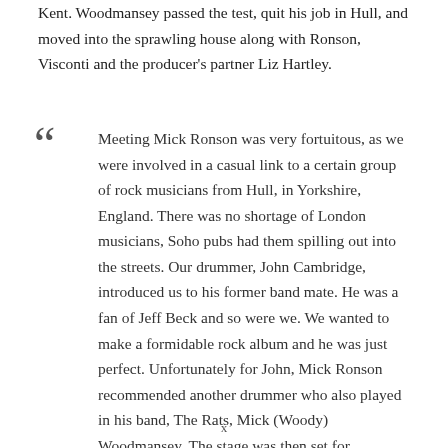Kent. Woodmansey passed the test, quit his job in Hull, and moved into the sprawling house along with Ronson, Visconti and the producer's partner Liz Hartley.
Meeting Mick Ronson was very fortuitous, as we were involved in a casual link to a certain group of rock musicians from Hull, in Yorkshire, England. There was no shortage of London musicians, Soho pubs had them spilling out into the streets. Our drummer, John Cambridge, introduced us to his former band mate. He was a fan of Jeff Beck and so were we. We wanted to make a formidable rock album and he was just perfect. Unfortunately for John, Mick Ronson recommended another drummer who also played in his band, The Rats, Mick (Woody) Woodmansey. The stage was then set for
x